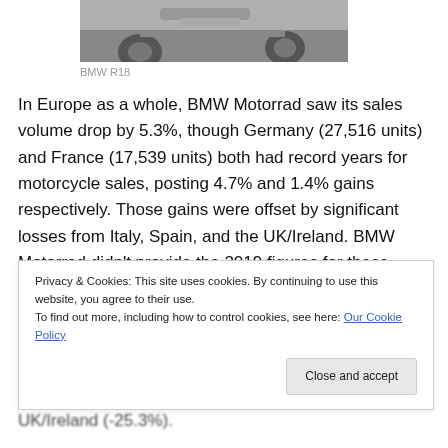[Figure (photo): Partial view of a BMW R18 motorcycle, showing the rear wheel, exhaust, and body on a road surface]
BMW R18
In Europe as a whole, BMW Motorrad saw its sales volume drop by 5.3%, though Germany (27,516 units) and France (17,539 units) both had record years for motorcycle sales, posting 4.7% and 1.4% gains respectively. Those gains were offset by significant losses from Italy, Spain, and the UK/Ireland. BMW Motorrad didn't provide the 2019 figures for these countries, nor their
UK/Ireland (-25.3%).
Privacy & Cookies: This site uses cookies. By continuing to use this website, you agree to their use.
To find out more, including how to control cookies, see here: Our Cookie Policy
Close and accept